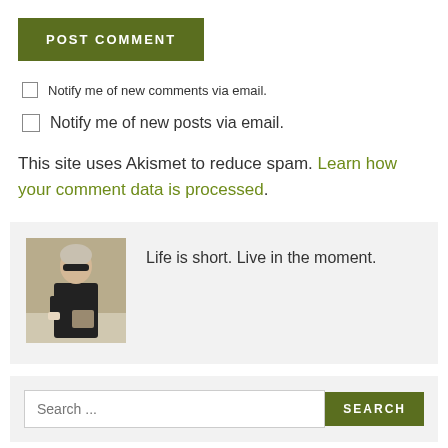POST COMMENT
Notify me of new comments via email.
Notify me of new posts via email.
This site uses Akismet to reduce spam. Learn how your comment data is processed.
[Figure (photo): Profile photo of a person wearing sunglasses and dark clothing, standing outdoors]
Life is short. Live in the moment.
Search ...